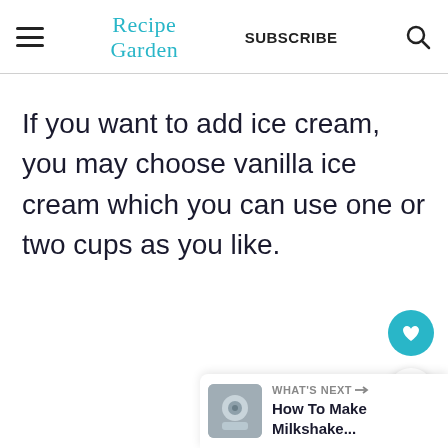Recipe Garden | SUBSCRIBE
If you want to add ice cream, you may choose vanilla ice cream which you can use one or two cups as you like.
[Figure (other): Floating heart (favorite) button in teal/cyan circle]
[Figure (other): Floating share button in white circle with shadow]
[Figure (other): What's Next card showing thumbnail and title 'How To Make Milkshake...']